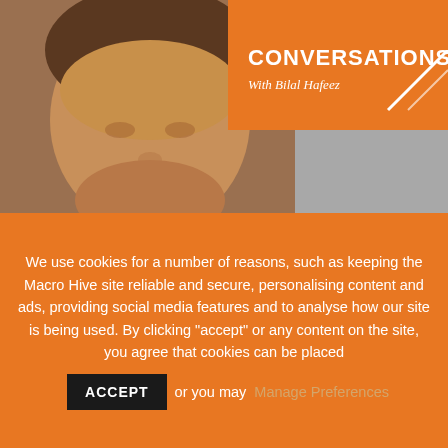[Figure (photo): Podcast thumbnail image showing a man's face/headshot on the left (grey background with hexagon pattern), orange banner top-right with 'CONVERSATIONS With Bilal Hafeez' text and a white arrow graphic]
18 June 2021
We use cookies for a number of reasons, such as keeping the Macro Hive site reliable and secure, personalising content and ads, providing social media features and to analyse how our site is being used. By clicking "accept" or any content on the site, you agree that cookies can be placed   ACCEPT   or you may  Manage Preferences